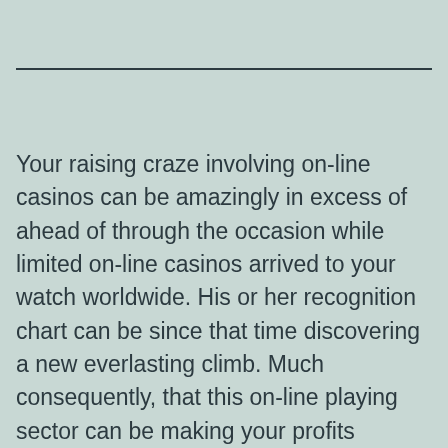Your raising craze involving on-line casinos can be amazingly in excess of ahead of through the occasion while limited on-line casinos arrived to your watch worldwide. His or her recognition chart can be since that time discovering a new everlasting climb. Much consequently, that this on-line playing sector can be making your profits involving millions yearly. As outlined by many evidences